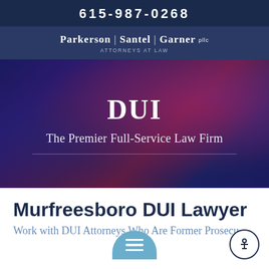615-987-0268
[Figure (logo): Parkerson | Santel | Garner PLLC Attorneys at Law law firm logo with text on dark blue background]
[Figure (photo): Hero image with DUI text and The Premier Full-Service Law Firm subtitle over a dark blue/purple/red background showing police lights, with a horizontal dividing line below the subtitle]
Murfreesboro DUI Lawyer
Work with DUI Attorneys Who Are Former Prosecutors